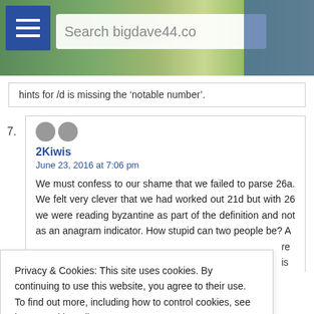[Figure (screenshot): Website header for bigdave44.com showing a landscape photo with hamburger menu icon and search box reading 'Search bigdave44.co']
hints for /d is missing the 'notable number'.
7. 2Kiwis
June 23, 2016 at 7:06 pm
We must confess to our shame that we failed to parse 26a. We felt very clever that we had worked out 21d but with 26 we were reading byzantine as part of the definition and not as an anagram indicator. How stupid can two people be? A [text continues but is obscured]
Privacy & Cookies: This site uses cookies. By continuing to use this website, you agree to their use.
To find out more, including how to control cookies, see here: Cookie Policy
Close and accept
8. Janet and Gavin